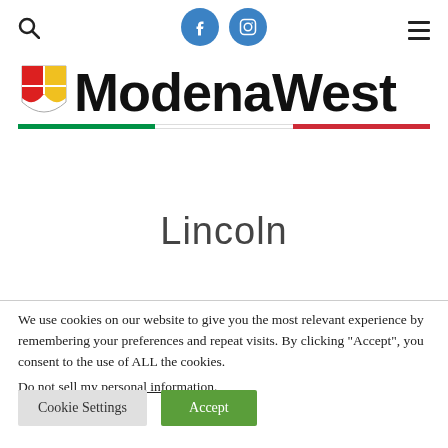[Figure (logo): ModenaWest logo with shield icon and tricolor underline, social media icons (Facebook, Instagram), search icon, and hamburger menu]
Lincoln
We use cookies on our website to give you the most relevant experience by remembering your preferences and repeat visits. By clicking "Accept", you consent to the use of ALL the cookies. Do not sell my personal information.
Cookie Settings | Accept